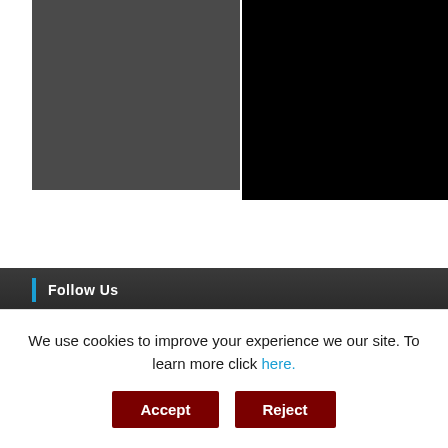[Figure (photo): Two-panel image area: left panel is a dark gray rectangle, right panel is a black rectangle]
Follow Us
We use cookies to improve your experience we our site. To learn more click here.